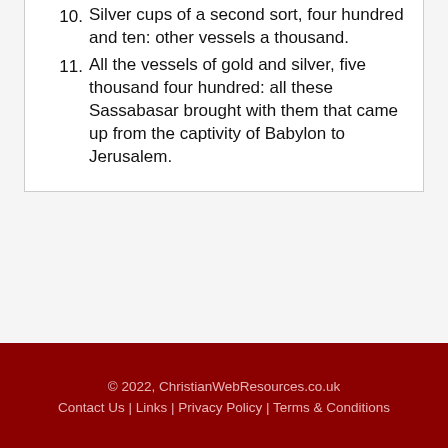10. Silver cups of a second sort, four hundred and ten: other vessels a thousand.
11. All the vessels of gold and silver, five thousand four hundred: all these Sassabasar brought with them that came up from the captivity of Babylon to Jerusalem.
© 2022, ChristianWebResources.co.uk Contact Us | Links | Privacy Policy | Terms & Conditions